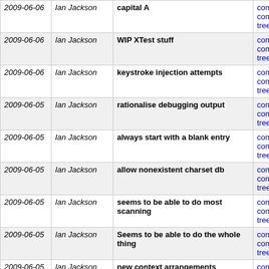| Date | Author | Message | Links |
| --- | --- | --- | --- |
| 2009-06-06 | Ian Jackson | capital A | commit | commitdiff | tree |
| 2009-06-06 | Ian Jackson | WIP XTest stuff | commit | commitdiff | tree |
| 2009-06-06 | Ian Jackson | keystroke injection attempts | commit | commitdiff | tree |
| 2009-06-05 | Ian Jackson | rationalise debugging output | commit | commitdiff | tree |
| 2009-06-05 | Ian Jackson | always start with a blank entry | commit | commitdiff | tree |
| 2009-06-05 | Ian Jackson | allow nonexistent charset db | commit | commitdiff | tree |
| 2009-06-05 | Ian Jackson | seems to be able to do most scanning | commit | commitdiff | tree |
| 2009-06-05 | Ian Jackson | Seems to be able to do the whole thing | commit | commitdiff | tree |
| 2009-06-05 | Ian Jackson | new context arrangements | commit | commitdiff | tree |
| 2009-06-04 | Ian Jackson | fix space handling | commit | commitdiff | tree |
| 2009-06-04 | Ian Jackson | compatibility version check | commit | commitdiff | tree |
| 2009-06-04 | Ian Jackson | New show-thing IPC | commit | commitdiff | tree |
| 2009-06-04 | Ian Jackson | wip | commit | commitdiff | tree |
next